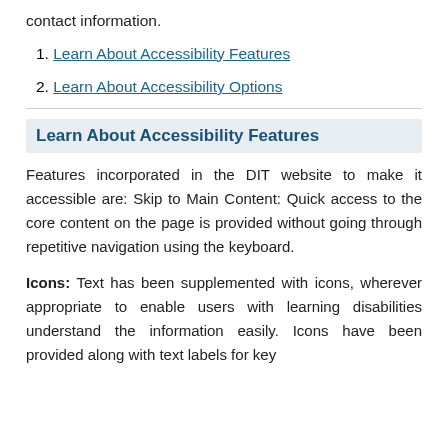contact information.
1. Learn About Accessibility Features
2. Learn About Accessibility Options
Learn About Accessibility Features
Features incorporated in the DIT website to make it accessible are: Skip to Main Content: Quick access to the core content on the page is provided without going through repetitive navigation using the keyboard.
Icons: Text has been supplemented with icons, wherever appropriate to enable users with learning disabilities understand the information easily. Icons have been provided along with text labels for key